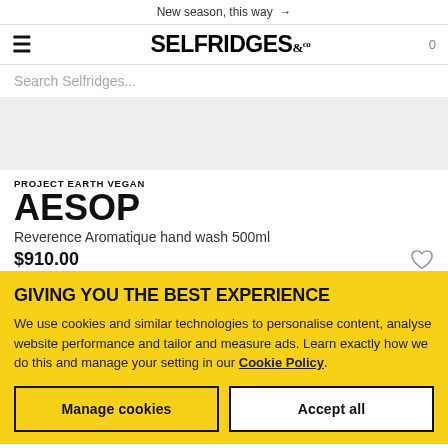New season, this way →
[Figure (logo): Selfridges & Co logo with hamburger menu and cart count 0]
Search Selfridges...
[Figure (photo): Product image area (grey background)]
PROJECT EARTH VEGAN
AESOP
Reverence Aromatique hand wash 500ml
$910.00
GIVING YOU THE BEST EXPERIENCE
We use cookies and similar technologies to personalise content, analyse website performance and tailor and measure ads. Learn exactly how we do this and manage your setting in our Cookie Policy.
Manage cookies
Accept all